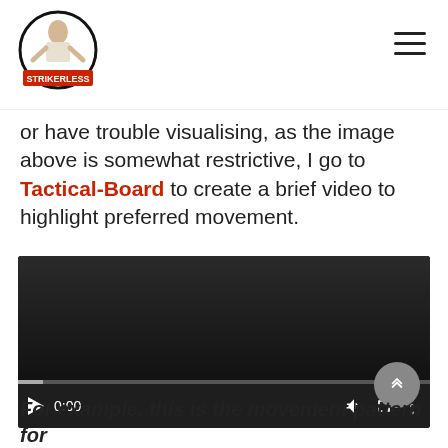Strikerless logo and navigation
or have trouble visualising, as the image above is somewhat restrictive, I go to Tactical-Board to create a brief video to highlight preferred movement.
[Figure (screenshot): Embedded video player showing a dark/black video frame with playback controls at the bottom including a play button, 0:00 timestamp, volume icon, fullscreen icon, and more options icon, with a progress bar.]
For example, this is the movement pattern for